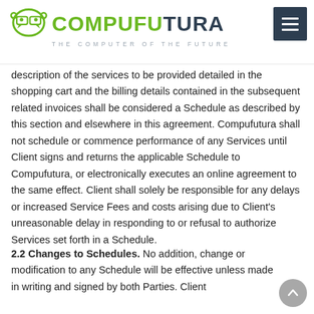COMPUFUTURA THE COMPUTER OF THE FUTURE
description of the services to be provided detailed in the shopping cart and the billing details contained in the subsequent related invoices shall be considered a Schedule as described by this section and elsewhere in this agreement. Compufutura shall not schedule or commence performance of any Services until Client signs and returns the applicable Schedule to Compufutura, or electronically executes an online agreement to the same effect. Client shall solely be responsible for any delays or increased Service Fees and costs arising due to Client's unreasonable delay in responding to or refusal to authorize Services set forth in a Schedule.
2.2 Changes to Schedules. No addition, change or modification to any Schedule will be effective unless made in writing and signed by both Parties. Client